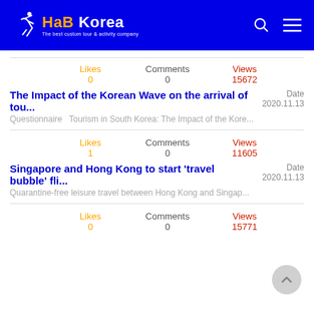HaB Korea - The best custom tour & activity company
Likes 0  Comments 0  Views 15672
The Impact of the Korean Wave on the arrival of tou...
Questionnaire  Tourism in South Korea: The Impact of the Kore...   Date 2020.11.13
Likes 1  Comments 0  Views 11605
Singapore and Hong Kong to start 'travel bubble' fli...
Quarantine-free leisure travel between Hong Kong and Singap...   Date 2020.11.13
Likes 0  Comments 0  Views 15771